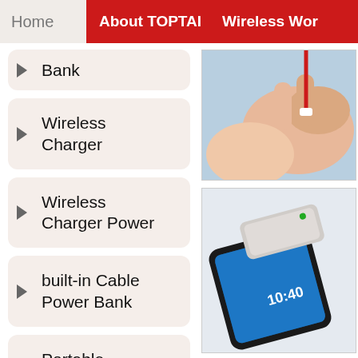Home  About TOPTAI  Wireless Wor...
Bank
Wireless Charger
Wireless Charger Power
built-in Cable Power Bank
Portable Power Bank
Solar E...
[Figure (photo): Close-up of a hand holding a red charging cable tip]
[Figure (photo): A wireless charger power bank device placed on top of a smartphone showing 10:40 on a blue screen]